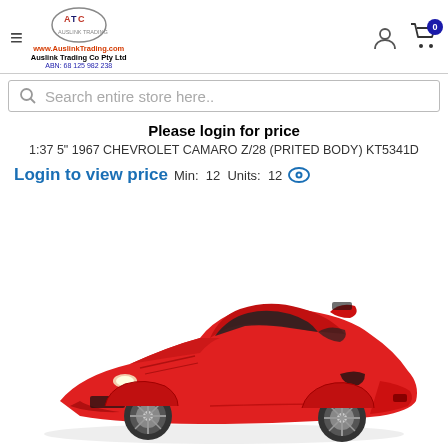Auslink Trading Co Pty Ltd — www.AuslinkTrading.com — ABN: 68 125 982 238
Search entire store here..
Please login for price
1:37 5" 1967 CHEVROLET CAMARO Z/28 (PRITED BODY) KT5341D
Login to view price  Min:  12  Units:  12
[Figure (photo): Red die-cast model sports car (resembling a Ford GT40 / similar classic sports car) photographed from a front three-quarter angle on a white background.]